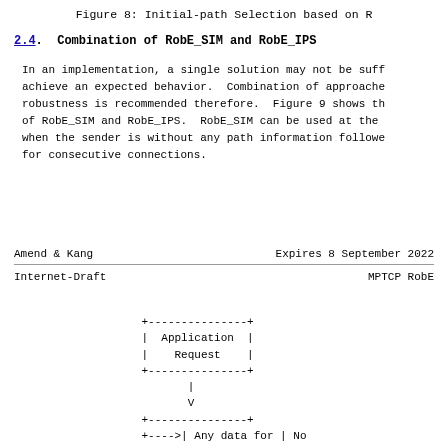Figure 8: Initial-path Selection based on R
2.4. Combination of RobE_SIM and RobE_IPS
In an implementation, a single solution may not be sufficient to achieve an expected behavior. Combination of approaches for robustness is recommended therefore. Figure 9 shows the combination of RobE_SIM and RobE_IPS. RobE_SIM can be used at the beginning when the sender is without any path information followed by RobE_IPS for consecutive connections.
Amend & Kang                    Expires 8 September 2022
Internet-Draft                          MPTCP RobE
[Figure (flowchart): Flowchart showing Application Request box at top, with arrow pointing down to a second box labeled 'Any data for | No' with an arrow labeled with a left arrow pointing to it]